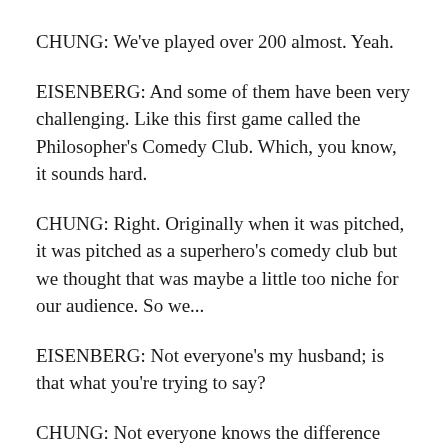CHUNG: We've played over 200 almost. Yeah.
EISENBERG: And some of them have been very challenging. Like this first game called the Philosopher's Comedy Club. Which, you know, it sounds hard.
CHUNG: Right. Originally when it was pitched, it was pitched as a superhero's comedy club but we thought that was maybe a little too niche for our audience. So we...
EISENBERG: Not everyone's my husband; is that what you're trying to say?
CHUNG: Not everyone knows the difference between Plastic Man and Elongated Man.